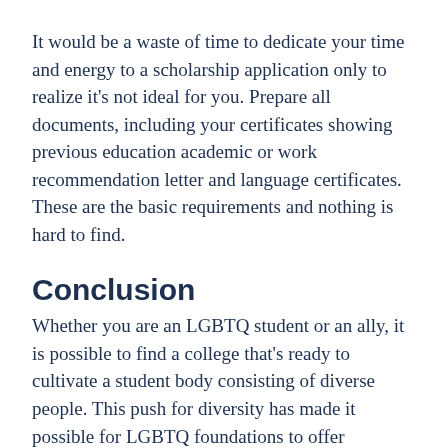It would be a waste of time to dedicate your time and energy to a scholarship application only to realize it's not ideal for you. Prepare all documents, including your certificates showing previous education academic or work recommendation letter and language certificates. These are the basic requirements and nothing is hard to find.
Conclusion
Whether you are an LGBTQ student or an ally, it is possible to find a college that's ready to cultivate a student body consisting of diverse people. This push for diversity has made it possible for LGBTQ foundations to offer scholarships. They make the dreams and educational goals of gays, lesbians, bisexual and queer students come true.
Be sure to learn more about the university you choose